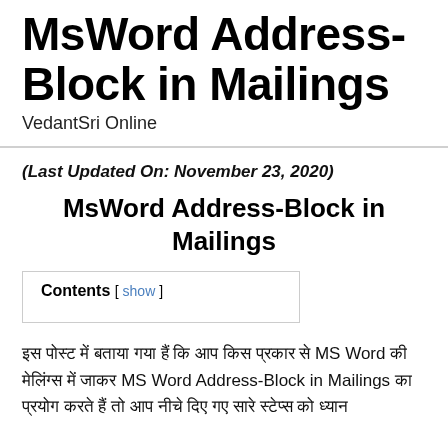MsWord Address-Block in Mailings
VedantSri Online
(Last Updated On: November 23, 2020)
MsWord Address-Block in Mailings
Contents [ show ]
इस पोस्ट में बताया गया हैं कि आप किस प्रकार से MS Word की मेलिंग्स में जाकर MS Word Address-Block in Mailings का प्रयोग करते हैं तो आप नीचे दिए गए सारे स्टेप्स को ध्यान